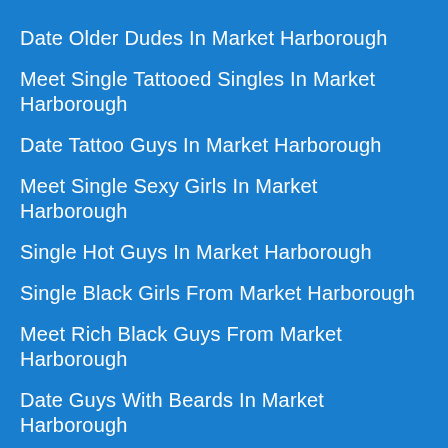Date Older Dudes In Market Harborough
Meet Single Tattooed Singles In Market Harborough
Date Tattoo Guys In Market Harborough
Meet Single Sexy Girls In Market Harborough
Single Hot Guys In Market Harborough
Single Black Girls From Market Harborough
Meet Rich Black Guys From Market Harborough
Date Guys With Beards In Market Harborough
Meet Hipster Guys In Market Harborough
Single Skater Girls In Market Harborough